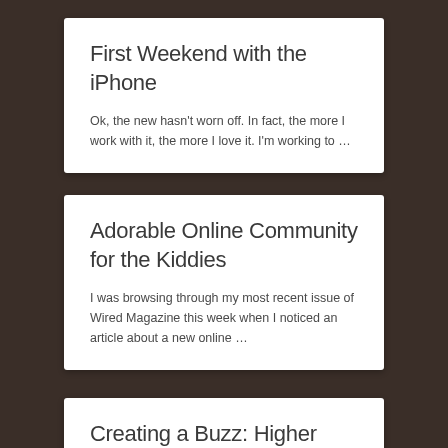First Weekend with the iPhone
Ok, the new hasn't worn off. In fact, the more I work with it, the more I love it. I'm working to …
Adorable Online Community for the Kiddies
I was browsing through my most recent issue of Wired Magazine this week when I noticed an article about a new online …
Creating a Buzz: Higher